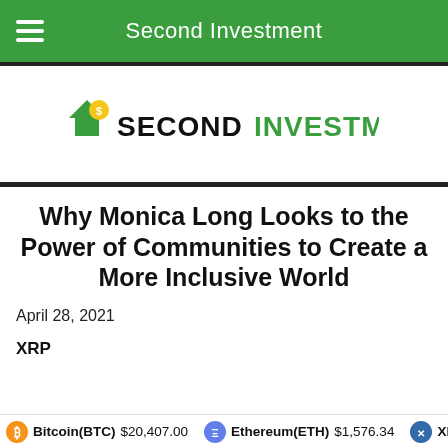Second Investment
[Figure (logo): Second Investment logo with stylized '2i' icon in green/yellow and text 'SECONDINVESTMENT' in black and green bold capitals]
Why Monica Long Looks to the Power of Communities to Create a More Inclusive World
April 28, 2021
XRP
Bitcoin(BTC) $20,407.00   Ethereum(ETH) $1,576.34   XRP